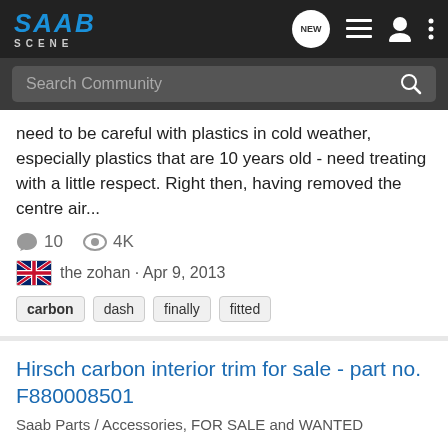SAAB SCENE
need to be careful with plastics in cold weather, especially plastics that are 10 years old - need treating with a little respect. Right then, having removed the centre air...
10 comments · 4K views
the zohan · Apr 9, 2013
carbon  dash  finally  fitted
Hirsch carbon interior trim for sale - part no. F880008501
Saab Parts / Accessories, FOR SALE and WANTED
Bought brand new from Hirsch last month. I was going to fit them to my car but never got round to it. Cost £350 if you can find it (sold out at Hirsch), I'll accept £200.